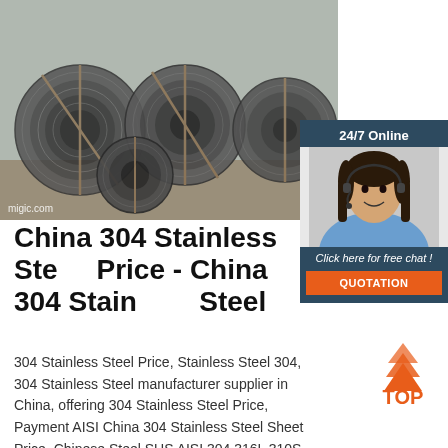[Figure (photo): Coiled steel wire rods stacked on ground, industrial setting, with watermark 'migic.com']
[Figure (photo): 24/7 Online chat widget with woman wearing headset, 'Click here for free chat!' and QUOTATION button]
China 304 Stainless Steel Price - China 304 Stainless Steel
304 Stainless Steel Price, Stainless Steel 304, 304 Stainless Steel manufacturer supplier in China, offering 304 Stainless Steel Price, Payment AISI China 304 Stainless Steel Sheet Price, Chinese Steel SUS AISI 304 316L 310S
[Figure (logo): TOP badge with orange upward arrow triangles and orange TOP text]